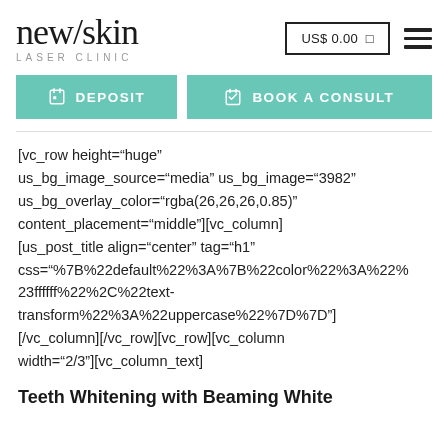[Figure (logo): new/skin LASER CLINIC logo — serif wordmark with 'new/skin' in large serif font and 'LASER CLINIC' in small spaced uppercase sans-serif below]
US$ 0.00
[Figure (other): Hamburger menu icon — three horizontal lines]
DEPOSIT
BOOK A CONSULT
[vc_row height="huge" us_bg_image_source="media" us_bg_image="3982" us_bg_overlay_color="rgba(26,26,26,0.85)" content_placement="middle"][vc_column][us_post_title align="center" tag="h1" css="%7B%22default%22%3A%7B%22color%22%3A%22%23ffffff%22%2C%22text-transform%22%3A%22uppercase%22%7D%7D"][/vc_column][/vc_row][vc_row][vc_column width="2/3"][vc_column_text]
Teeth Whitening with Beaming White